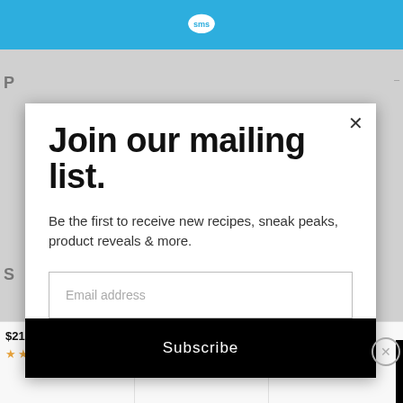[Figure (screenshot): Blue header bar with SMS speech bubble logo icon centered]
Join our mailing list.
Be the first to receive new recipes, sneak peaks, product reveals & more.
Email address
Subscribe
CLOSE
$21.56 prime ✓ (79012)
$9.99 $10.99 prime ✓ (28040)
$32.99 prime ✓ (7079)